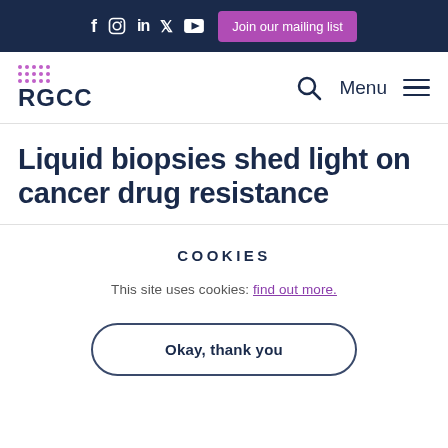f  in  y  ▶  Join our mailing list
[Figure (logo): RGCC logo with dotted grid pattern above text]
Liquid biopsies shed light on cancer drug resistance
COOKIES
This site uses cookies: find out more.
Okay, thank you